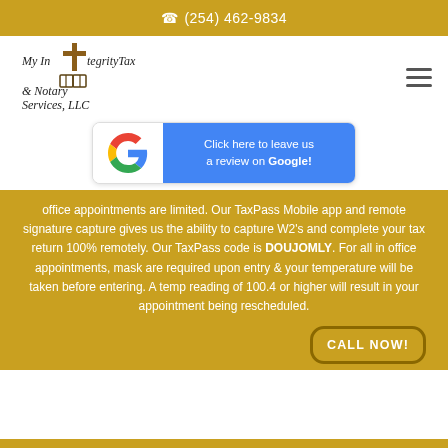(254) 462-9834
[Figure (logo): My Integrity Tax & Notary Services, LLC logo with cross and open book icons]
[Figure (screenshot): Google review banner: Click here to leave us a review on Google!]
office appointments are limited. Our TaxPass Mobile app and remote signature capture gives us the ability to capture W2’s and complete your tax return 100% remotely. Our TaxPass code is DOUJOMLY. For all in office appointments, mask are required upon entry & your temperature will be taken before entering. A temp reading of 100.4 or higher will result in your appointment being rescheduled.
CALL NOW!